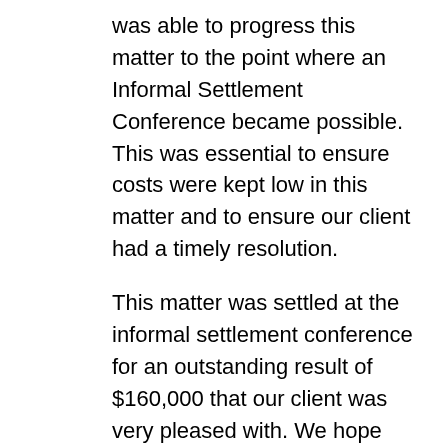was able to progress this matter to the point where an Informal Settlement Conference became possible. This was essential to ensure costs were kept low in this matter and to ensure our client had a timely resolution.
This matter was settled at the informal settlement conference for an outstanding result of $160,000 that our client was very pleased with. We hope that this settlement reminds shopping centres that negligent acts significantly alter the course of people's lives, and encourages them to be vigilant ensure incidents like this do not occur. We also hope that this settlement allows for our client to continue to obtain medical treatment and